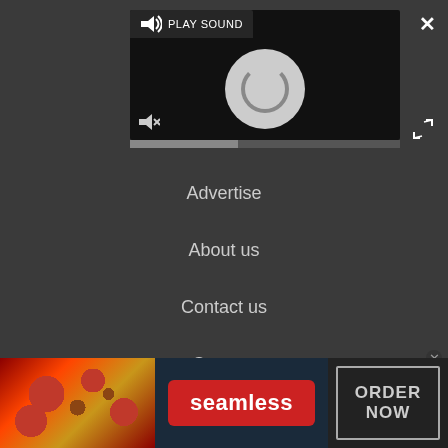[Figure (screenshot): Video player with PLAY SOUND label, loading spinner circle, muted speaker icon, and a progress bar below]
Advertise
About us
Contact us
Careers
Do not sell my info
[Figure (screenshot): Seamless food delivery advertisement banner with pizza image on left, red Seamless logo in center, and ORDER NOW button on right]